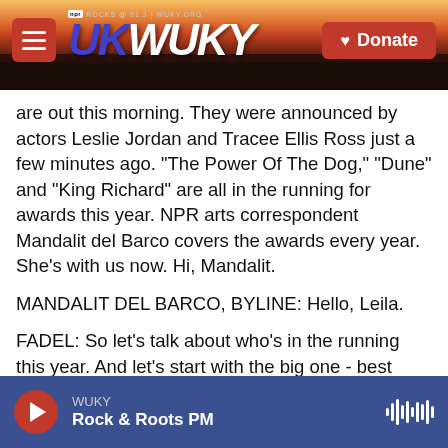WUKY NPR Rocks @ 91.3 | WUKY.ORG — Donate
are out this morning. They were announced by actors Leslie Jordan and Tracee Ellis Ross just a few minutes ago. "The Power Of The Dog," "Dune" and "King Richard" are all in the running for awards this year. NPR arts correspondent Mandalit del Barco covers the awards every year. She's with us now. Hi, Mandalit.
MANDALIT DEL BARCO, BYLINE: Hello, Leila.
FADEL: So let's talk about who's in the running this year. And let's start with the big one - best picture.
DEL BARCO: Best picture. Yeah, there are 10
WUKY | Rock & Roots PM